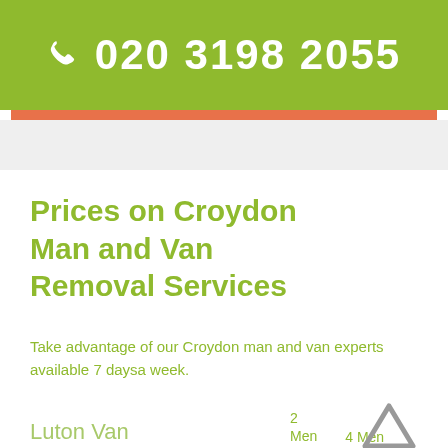020 3198 2055
Prices on Croydon Man and Van Removal Services
Take advantage of our Croydon man and van experts available 7 daysa week.
Luton Van  2 Men  4 Men